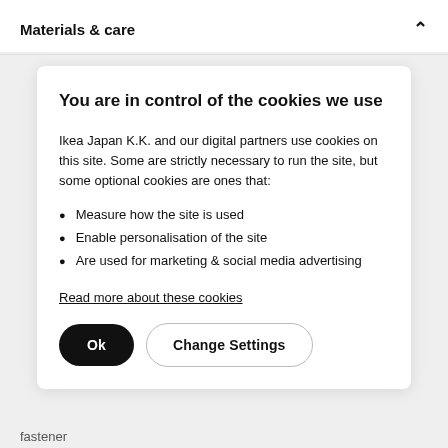Materials & care
You are in control of the cookies we use
Ikea Japan K.K. and our digital partners use cookies on this site. Some are strictly necessary to run the site, but some optional cookies are ones that:
Measure how the site is used
Enable personalisation of the site
Are used for marketing & social media advertising
Read more about these cookies
Ok   Change Settings
fastener